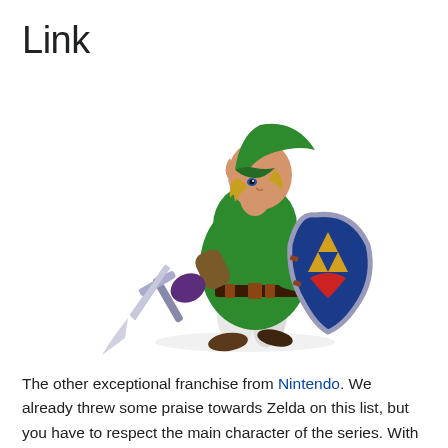Link
[Figure (illustration): 3D render of Link, the main character from The Legend of Zelda series, wearing a green tunic and hat, holding a sword and the Hylian Shield, in a fighting stance against a white background.]
The other exceptional franchise from Nintendo. We already threw some praise towards Zelda on this list, but you have to respect the main character of the series. With a new Zelda installment coming